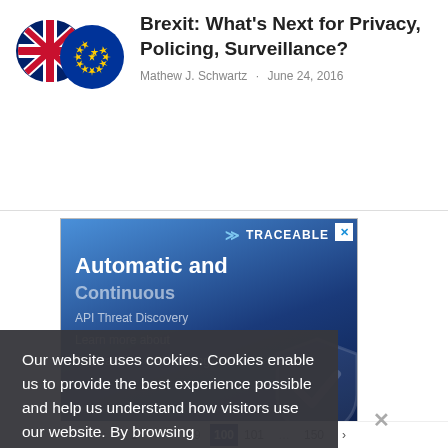[Figure (photo): UK Union Jack flag and EU flag circular badges overlapping]
Brexit: What's Next for Privacy, Policing, Surveillance?
Mathew J. Schwartz · June 24, 2016
[Figure (screenshot): Traceable advertisement banner with 'Automatic and Continuous' text and a shield icon]
Our website uses cookies. Cookies enable us to provide the best experience possible and help us understand how visitors use our website. By browsing healthcareinfosecurity.com, you agree to our use of cookies.